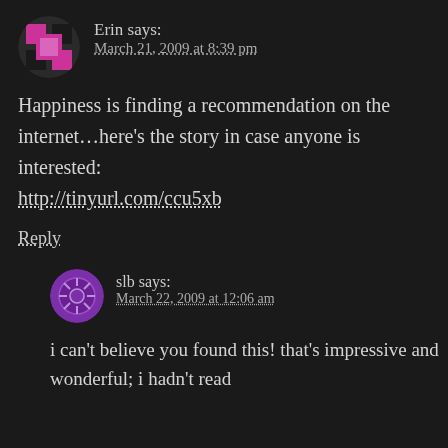Erin says: March 21, 2009 at 8:39 pm
Happiness is finding a recommendation on the internet...here's the story in case anyone is interested: http://tinyurl.com/ccu5xb
Reply
slb says: March 22, 2009 at 12:06 am
i can't believe you found this! that's impressive and wonderful; i hadn't read